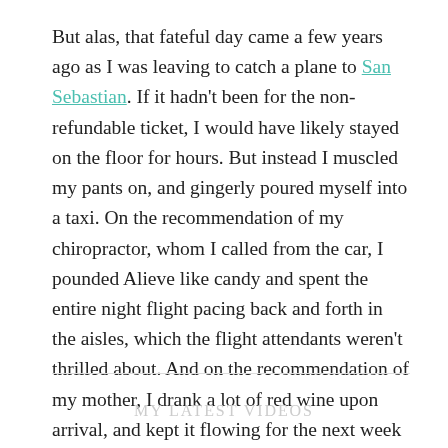But alas, that fateful day came a few years ago as I was leaving to catch a plane to San Sebastian. If it hadn't been for the non-refundable ticket, I would have likely stayed on the floor for hours. But instead I muscled my pants on, and gingerly poured myself into a taxi. On the recommendation of my chiropractor, whom I called from the car, I pounded Alieve like candy and spent the entire night flight pacing back and forth in the aisles, which the flight attendants weren't thrilled about. And on the recommendation of my mother, I drank a lot of red wine upon arrival, and kept it flowing for the next week of my solo travels.
MY LATEST VIDEOS